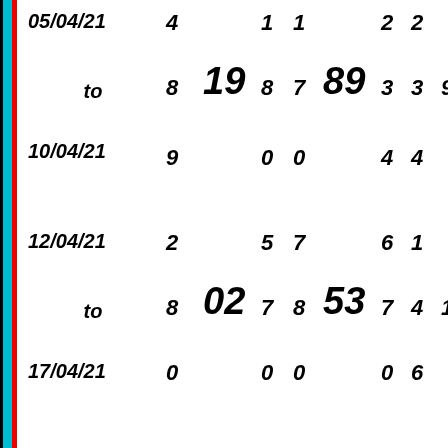| 05/04/21 to 10/04/21 | 4 8 9 | 19 | 1 8 0 | 1 7 0 | 89 | 2 3 4 | 2 3 4 | 9 |
| 12/04/21 to 17/04/21 | 2 8 0 | 02 | 5 7 0 | 7 8 0 | 53 | 6 7 0 | 1 4 6 | 1 |
| 19/04/21 to 24/04/21 | 1 3 5 | 97 | 1 6 0 | 1 4 9 | 42 | 5 7 0 | 1 8 9 | 8 |
| 26/04/21 | 1 |  | 3 | 1 |  | 7 | 7 |  |